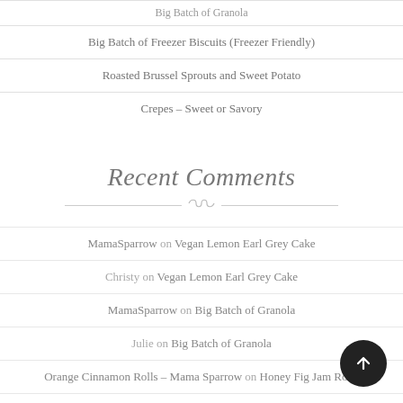Big Batch of Freezer Biscuits (Freezer Friendly)
Roasted Brussel Sprouts and Sweet Potato
Crepes – Sweet or Savory
Recent Comments
MamaSparrow on Vegan Lemon Earl Grey Cake
Christy on Vegan Lemon Earl Grey Cake
MamaSparrow on Big Batch of Granola
Julie on Big Batch of Granola
Orange Cinnamon Rolls – Mama Sparrow on Honey Fig Jam Rolls
Archives